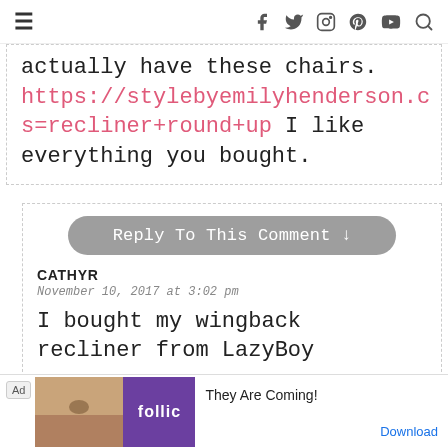☰ [social icons: facebook, twitter, instagram, pinterest, youtube, search]
actually have these chairs. https://stylebyemilyhenderson.c s=recliner+round+up I like everything you bought.
Reply To This Comment ↓
CATHYR
November 10, 2017 at 3:02 pm
I bought my wingback recliner from LazyBoy
[Figure (other): Ad banner for Follic game app: 'They Are Coming!' with Download button]